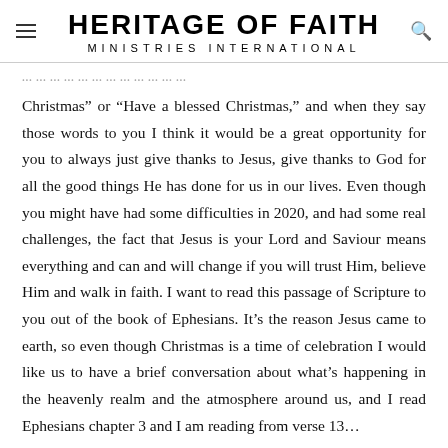HERITAGE OF FAITH MINISTRIES INTERNATIONAL
Christmas” or “Have a blessed Christmas,” and when they say those words to you I think it would be a great opportunity for you to always just give thanks to Jesus, give thanks to God for all the good things He has done for us in our lives. Even though you might have had some difficulties in 2020, and had some real challenges, the fact that Jesus is your Lord and Saviour means everything and can and will change if you will trust Him, believe Him and walk in faith. I want to read this passage of Scripture to you out of the book of Ephesians. It’s the reason Jesus came to earth, so even though Christmas is a time of celebration I would like us to have a brief conversation about what’s happening in the heavenly realm and the atmosphere around us, and I read Ephesians chapter 3 and I am reading from verse 13…